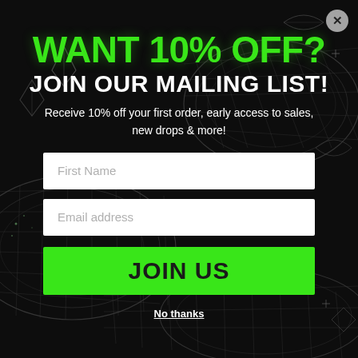[Figure (illustration): Dark background with glowing wire-frame snake coils, crystal/gem shapes, leaf outlines, and star/sparkle decorative elements in dark grey and silver tones]
WANT 10% OFF?
JOIN OUR MAILING LIST!
Receive 10% off your first order, early access to sales, new drops & more!
First Name
Email address
JOIN US
No thanks